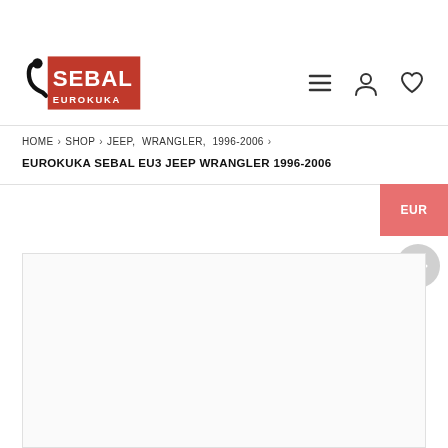[Figure (logo): Sebal Eurokuka logo — black hook icon on left, text SEBAL in large letters with red accent, EUROKUKA below in smaller text on dark background]
HOME  >  SHOP  >  JEEP,  WRANGLER,  1996-2006  >
EUROKUKA SEBAL EU3 JEEP WRANGLER 1996-2006
EUR
[Figure (photo): Product image area — white/light grey background rectangle showing a product photo (content not visible)]